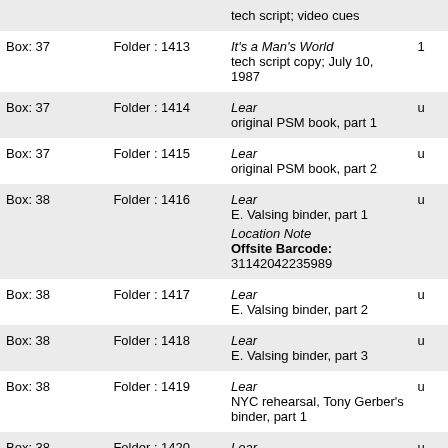| Box | Folder | Description |  |
| --- | --- | --- | --- |
|  |  | tech script; video cues |  |
| Box: 37 | Folder : 1413 | It's a Man's World
tech script copy; July 10, 1987 | 1 |
| Box: 37 | Folder : 1414 | Lear
original PSM book, part 1 | u |
| Box: 37 | Folder : 1415 | Lear
original PSM book, part 2 | u |
| Box: 38 | Folder : 1416 | Lear
E. Valsing binder, part 1
Location Note
Offsite Barcode: 31142042235989 | u |
| Box: 38 | Folder : 1417 | Lear
E. Valsing binder, part 2 | u |
| Box: 38 | Folder : 1418 | Lear
E. Valsing binder, part 3 | u |
| Box: 38 | Folder : 1419 | Lear
NYC rehearsal, Tony Gerber's binder, part 1 | u |
| Box: 38 | Folder : 1420 | Lear
NYC rehearsal, Tony | u |